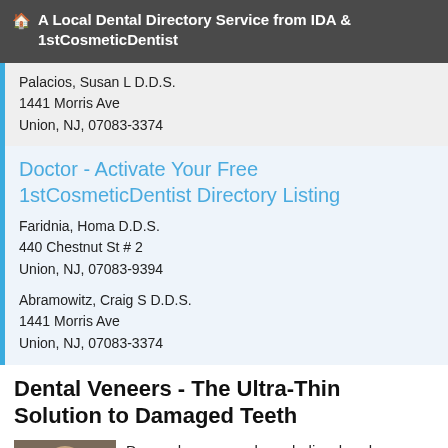🏠 A Local Dental Directory Service from IDA & 1stCosmeticDentist
Palacios, Susan L D.D.S.
1441 Morris Ave
Union, NJ, 07083-3374
Doctor - Activate Your Free 1stCosmeticDentist Directory Listing
Faridnia, Homa D.D.S.
440 Chestnut St # 2
Union, NJ, 07083-9394
Abramowitz, Craig S D.D.S.
1441 Morris Ave
Union, NJ, 07083-3374
Dental Veneers - The Ultra-Thin Solution to Damaged Teeth
[Figure (photo): Close-up photo of a person's face, showing eyes and upper portion]
Do you have a weakened, discolored or broken tooth, or teeth, you wish could be